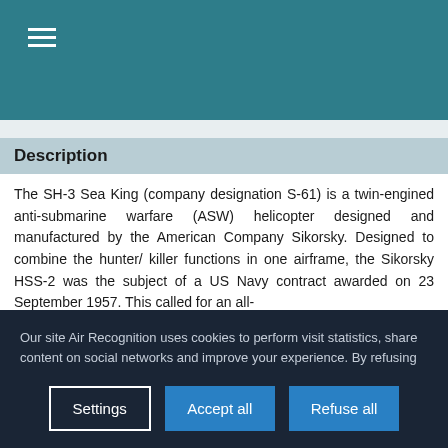≡
Description
The SH-3 Sea King (company designation S-61) is a twin-engined anti-submarine warfare (ASW) helicopter designed and manufactured by the American Company Sikorsky. Designed to combine the hunter/ killer functions in one airframe, the Sikorsky HSS-2 was the subject of a US Navy contract awarded on 23 September 1957. This called for an all-
Our site Air Recognition uses cookies to perform visit statistics, share content on social networks and improve your experience. By refusing cookies, some services will not function properly. We store your choice for 30 days. You can change your mind by clicking on the 'Cookies' button at the bottom left of every page of our site. Learn more
Settings | Accept all | Refuse all